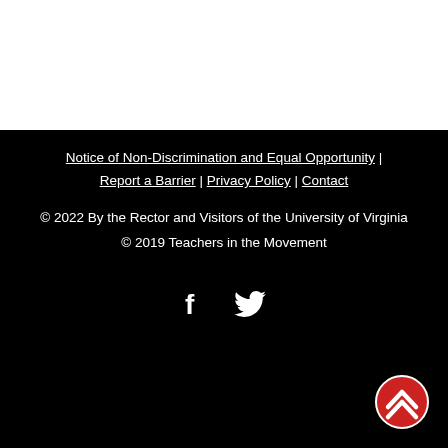Notice of Non-Discrimination and Equal Opportunity | Report a Barrier | Privacy Policy | Contact
© 2022 By the Rector and Visitors of the University of Virginia
© 2019 Teachers in the Movement
[Figure (illustration): Social media icons: Facebook (f) and Twitter (bird) in white on black background]
[Figure (illustration): Back to top button: red circle with white upward-pointing chevron arrow]